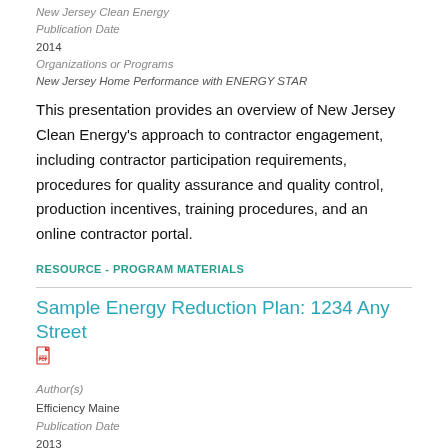New Jersey Clean Energy
Publication Date
2014
Organizations or Programs
New Jersey Home Performance with ENERGY STAR
This presentation provides an overview of New Jersey Clean Energy's approach to contractor engagement, including contractor participation requirements, procedures for quality assurance and quality control, production incentives, training procedures, and an online contractor portal.
RESOURCE - PROGRAM MATERIALS
Sample Energy Reduction Plan: 1234 Any Street
Author(s)
Efficiency Maine
Publication Date
2013
Organizations or Programs